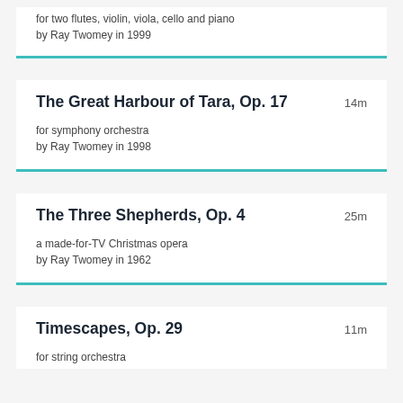for two flutes, violin, viola, cello and piano
by Ray Twomey in 1999
The Great Harbour of Tara, Op. 17
14m
for symphony orchestra
by Ray Twomey in 1998
The Three Shepherds, Op. 4
25m
a made-for-TV Christmas opera
by Ray Twomey in 1962
Timescapes, Op. 29
11m
for string orchestra